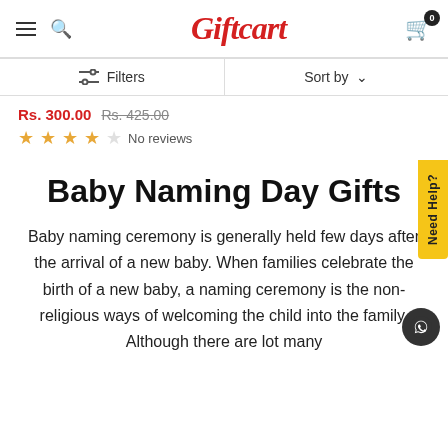Giftcart
Filters | Sort by
Rs. 300.00  Rs. 425.00
★★★★☆ No reviews
Baby Naming Day Gifts
Baby naming ceremony is generally held few days after the arrival of a new baby. When families celebrate the birth of a new baby, a naming ceremony is the non-religious ways of welcoming the child into the family. Although there are lot many